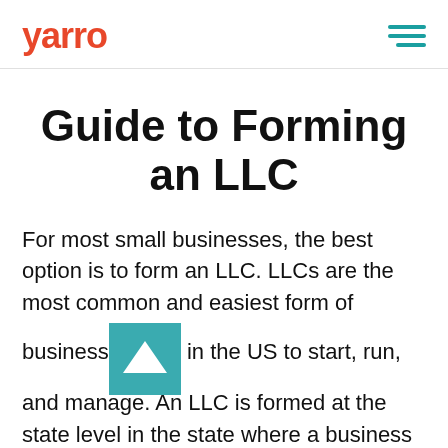yarro
Guide to Forming an LLC
For most small businesses, the best option is to form an LLC. LLCs are the most common and easiest form of business in the US to start, run, and manage. An LLC is formed at the state level in the state where a business resides and operates. If your business will have a physical